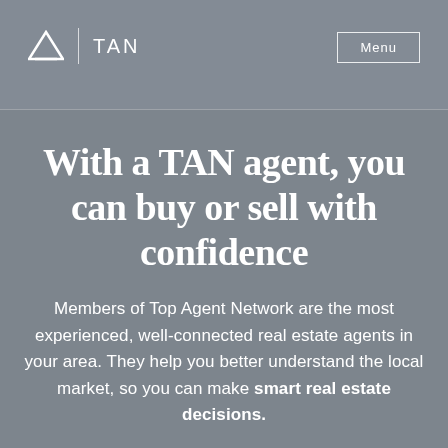TAN | Menu
With a TAN agent, you can buy or sell with confidence
Members of Top Agent Network are the most experienced, well-connected real estate agents in your area. They help you better understand the local market, so you can make smart real estate decisions.